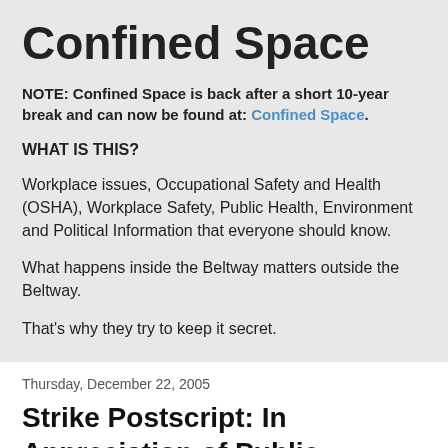Confined Space
NOTE: Confined Space is back after a short 10-year break and can now be found at: Confined Space.
WHAT IS THIS?
Workplace issues, Occupational Safety and Health (OSHA), Workplace Safety, Public Health, Environment and Political Information that everyone should know.
What happens inside the Beltway matters outside the Beltway.
That's why they try to keep it secret.
Thursday, December 22, 2005
Strike Postscript: In Appreciation of Public Employees